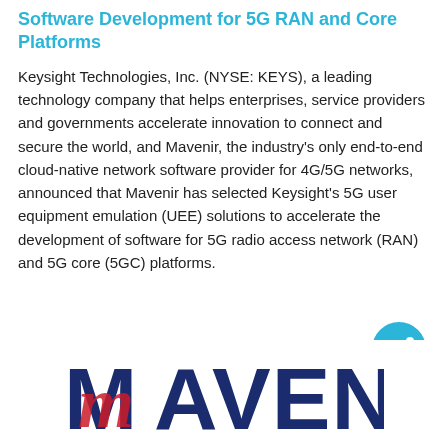Software Development for 5G RAN and Core Platforms
Keysight Technologies, Inc. (NYSE: KEYS), a leading technology company that helps enterprises, service providers and governments accelerate innovation to connect and secure the world, and Mavenir, the industry's only end-to-end cloud-native network software provider for 4G/5G networks, announced that Mavenir has selected Keysight's 5G user equipment emulation (UEE) solutions to accelerate the development of software for 5G radio access network (RAN) and 5G core (5GC) platforms.
[Figure (logo): Mavenir logo with large blue M and red script accent, followed by blue text AVENIR]
[Figure (other): Cyan circular share button icon with share/network symbol]